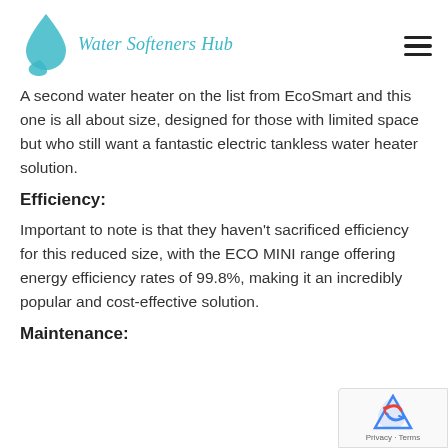Water Softeners Hub
A second water heater on the list from EcoSmart and this one is all about size, designed for those with limited space but who still want a fantastic electric tankless water heater solution.
Efficiency:
Important to note is that they haven't sacrificed efficiency for this reduced size, with the ECO MINI range offering energy efficiency rates of 99.8%, making it an incredibly popular and cost-effective solution.
Maintenance: